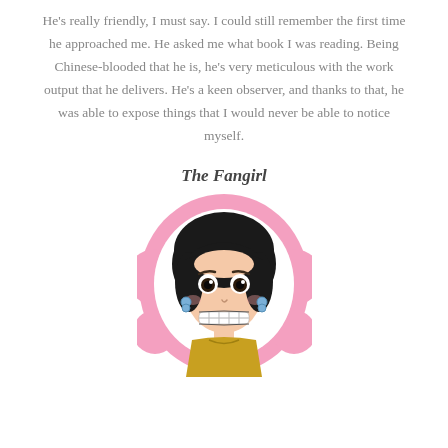He's really friendly, I must say. I could still remember the first time he approached me. He asked me what book I was reading. Being Chinese-blooded that he is, he's very meticulous with the work output that he delivers. He's a keen observer, and thanks to that, he was able to expose things that I would never be able to notice myself.
The Fangirl
[Figure (illustration): Anime-style illustration of a young woman with short black hair, large eyes, blue earrings, braces, and a yellow top, set against a pink decorative background.]